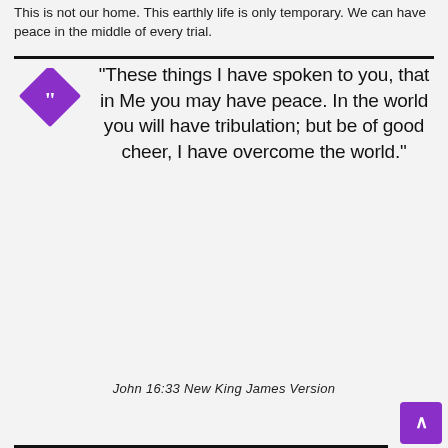This is not our home. This earthly life is only temporary. We can have peace in the middle of every trial.
[Figure (illustration): Purple diamond shape with white quotation mark icon inside, used as a decorative quote symbol]
“These things I have spoken to you, that in Me you may have peace. In the world you will have tribulation; but be of good cheer, I have overcome the world.”
John 16:33 New King James Version